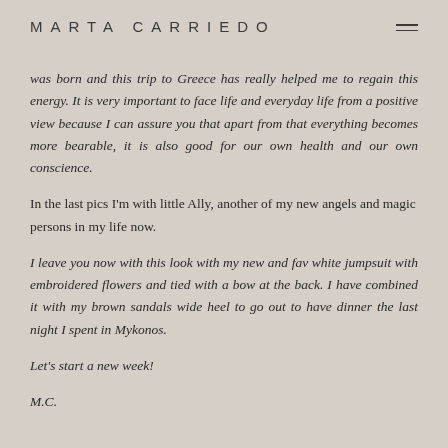MARTA CARRIEDO
was born and this trip to Greece has really helped me to regain this energy. It is very important to face life and everyday life from a positive view because I can assure you that apart from that everything becomes more bearable, it is also good for our own health and our own conscience.
In the last pics I'm with little Ally, another of my new angels and magic persons in my life now.
I leave you now with this look with my new and fav white jumpsuit with embroidered flowers and tied with a bow at the back. I have combined it with my brown sandals wide heel to go out to have dinner the last night I spent in Mykonos.
Let's start a new week!
M.C.